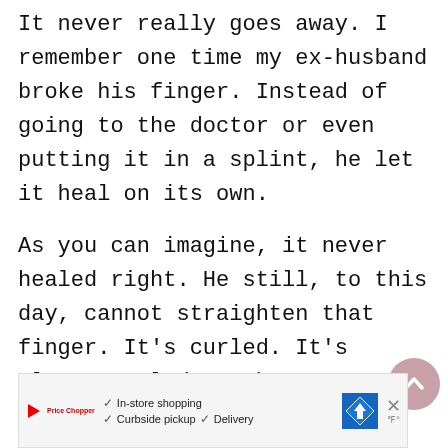It never really goes away. I remember one time my ex-husband broke his finger. Instead of going to the doctor or even putting it in a splint, he let it heal on its own.
As you can imagine, it never healed right. He still, to this day, cannot straighten that finger. It's curled. It's always curled, at best.
He didn't heal it right. He healed it